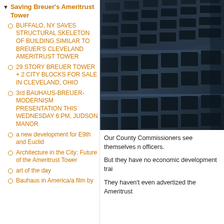Saving Breuer's Ameritrust Tower
BUFFALO, NY SAVES STRUCTURAL SKELETON OF BUILDING SIMILAR TO BREUER'S CLEVELAND AMERITRUST TOWER
29 STORY BREUER TOWER + 2 CITY BLOCKS FOR SALE IN CLEVELAND, OHIO
3rd BAUHAUS-BREUER-MODERNISM PRESENTATION THIS WEDNESDAY 6:PM, JUDSON MANOR
a new development for E9th and Euclid
Architecture in the City: Future of the Ameritrust Tower
art of the day
Bauhaus in America/a film by
[Figure (photo): Close-up photograph of a modernist building facade showing a dark grid of concrete columns and recessed windows, characteristic of Brutalist architecture. The Ameritrust Tower building exterior is shown at an angle.]
Our County Commissioners see themselves n officers.
But they have no economic development trai
They haven't even advertized the Ameritrust